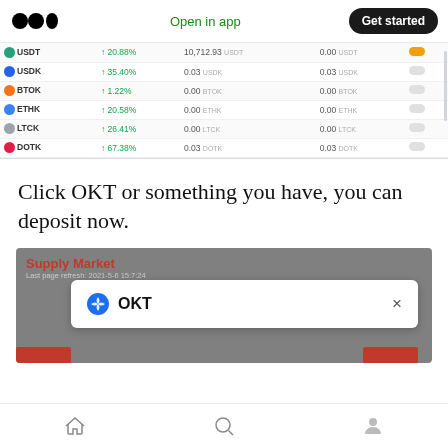Open in app  Get started
[Figure (screenshot): Screenshot of a cryptocurrency list table showing coins USDT, USDK, BTOK, ETHK, LTCK, DOTK with green percentage changes and 0.00 values, with toggle switches on the right.]
Click OKT or something you have, you can deposit now.
[Figure (screenshot): Screenshot of a Supply Market interface with a modal popup showing OKT token with a blue diamond icon and a close (x) button.]